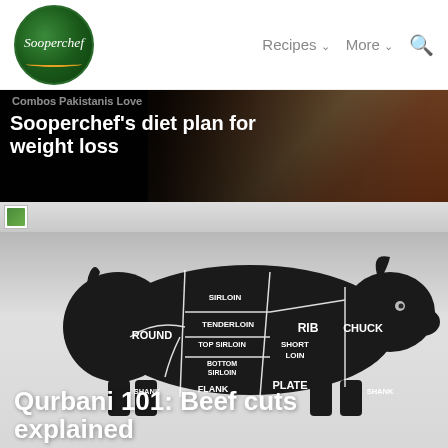[Figure (logo): Sooperchef circular green logo with italic white text]
Recipes ∨   More ∨   🔍
[Figure (screenshot): Banner with food image overlay showing text: Combos Pakistanis Love / Sooperchef's diet plan for weight loss]
[Figure (screenshot): Thin scrollable strip with small image thumbnail]
[Figure (illustration): Beef cuts diagram showing a silhouette of a cow with labeled sections: SIRLOIN, TENDERLOIN, TOP SIRLOIN, BOTTOM SIRLOIN, SHORT LOIN, ROUND, RIB, CHUCK, PLATE, FLANK, SHANK]
Qurbani 101: Beef cuts explained